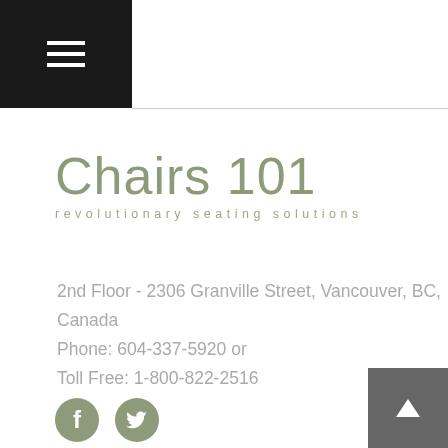≡ (hamburger menu)
[Figure (logo): Chairs 101 logo with text 'revolutionary seating solutions']
2nd Floor - 2306 Granville Street, Vancouver, BC, Canada
Phone: 604-337-5920 or
Toll Free: 1-800-822-2516
[Figure (illustration): Facebook and Twitter social media icons in muted green color]
[Figure (other): Scroll to top button with upward arrow, dark grey]